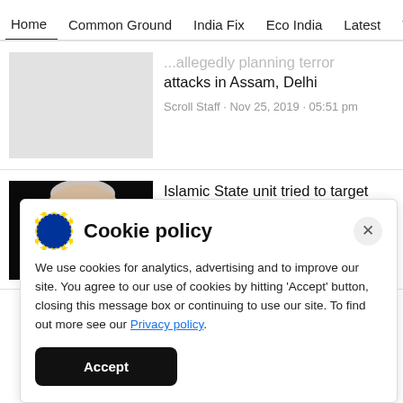Home | Common Ground | India Fix | Eco India | Latest | Th
...allegedly planning terror attacks in Assam, Delhi
Scroll Staff · Nov 25, 2019 · 05:51 pm
[Figure (photo): Photo of a grey-haired person against black background]
Islamic State unit tried to target India last year, says US counter-terrorism official
Cookie policy
We use cookies for analytics, advertising and to improve our site. You agree to our use of cookies by hitting 'Accept' button, closing this message box or continuing to use our site. To find out more see our Privacy policy.
Accept